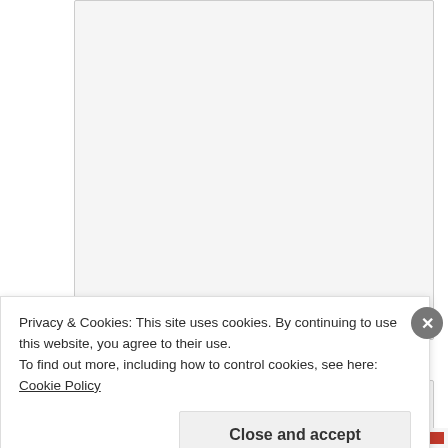[Figure (screenshot): Textarea input field, empty, with light gray background and resize handle in bottom right corner]
NAME *
[Figure (screenshot): Name text input field, empty, with light gray background]
EMAIL *
Privacy & Cookies: This site uses cookies. By continuing to use this website, you agree to their use.
To find out more, including how to control cookies, see here:
Cookie Policy
Close and accept